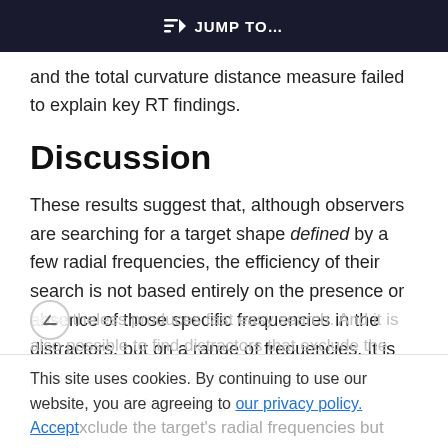JUMP TO...
and the total curvature distance measure failed to explain key RT findings.
Discussion
These results suggest that, although observers are searching for a target shape defined by a few radial frequencies, the efficiency of their search is not based entirely on the presence or absence of those specific frequencies in the distractors, but on a range of frequencies. It is possible to find distractors that include the target’s radial frequencies but
This site uses cookies. By continuing to use our website, you are agreeing to our privacy policy. Accept